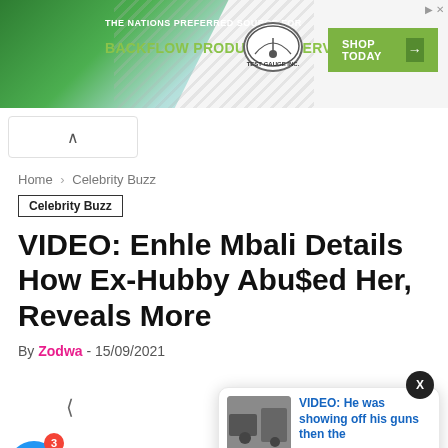[Figure (infographic): Advertisement banner: Test Gauge Inc. - The Nation's Preferred Source for Backflow Products & Services. Shop Today button with arrow.]
Home › Celebrity Buzz
Celebrity Buzz
VIDEO: Enhle Mbali Details How Ex-Hubby Abu$ed Her, Reveals More
By Zodwa - 15/09/2021
[Figure (infographic): Popup notification card with thumbnail image and text: VIDEO: He was showing off his guns then the - 4 hours ago. Also a blue notification bell with badge showing 3, and close X button.]
Enhle Mbali has finally released her highly anticipated short